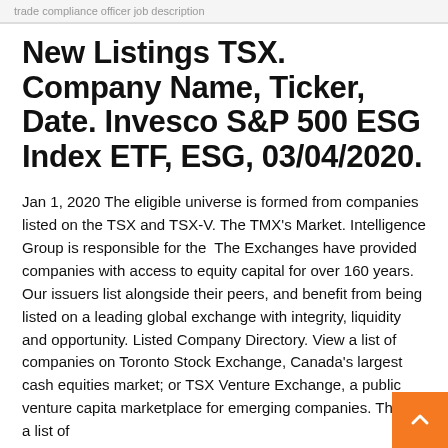trade compliance officer job description
New Listings TSX. Company Name, Ticker, Date. Invesco S&P 500 ESG Index ETF, ESG, 03/04/2020.
Jan 1, 2020 The eligible universe is formed from companies listed on the TSX and TSX-V. The TMX's Market. Intelligence Group is responsible for the  The Exchanges have provided companies with access to equity capital for over 160 years. Our issuers list alongside their peers, and benefit from being listed on a leading global exchange with integrity, liquidity and opportunity. Listed Company Directory. View a list of companies on Toronto Stock Exchange, Canada's largest cash equities market; or TSX Venture Exchange, a public venture capital marketplace for emerging companies. This is a list of